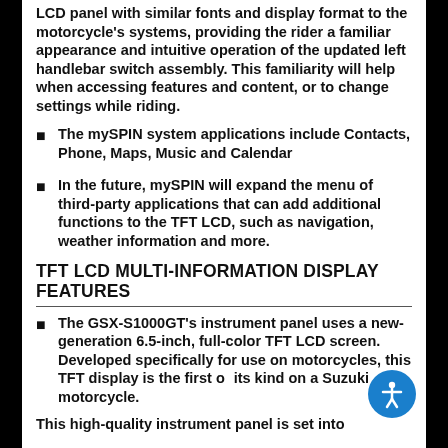LCD panel with similar fonts and display format to the motorcycle's systems, providing the rider a familiar appearance and intuitive operation of the updated left handlebar switch assembly. This familiarity will help when accessing features and content, or to change settings while riding.
The mySPIN system applications include Contacts, Phone, Maps, Music and Calendar
In the future, mySPIN will expand the menu of third-party applications that can add additional functions to the TFT LCD, such as navigation, weather information and more.
TFT LCD MULTI-INFORMATION DISPLAY FEATURES
The GSX-S1000GT's instrument panel uses a new-generation 6.5-inch, full-color TFT LCD screen. Developed specifically for use on motorcycles, this TFT display is the first of its kind on a Suzuki motorcycle.
This high-quality instrument panel is set into